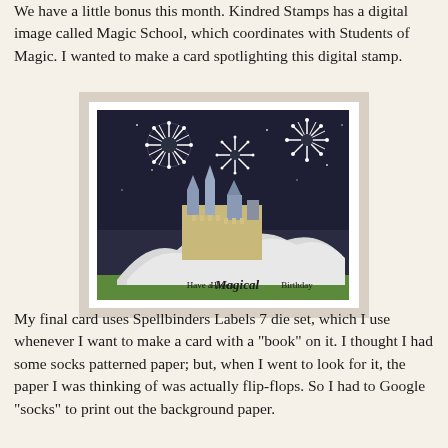We have a little bonus this month. Kindred Stamps has a digital image called Magic School, which coordinates with Students of Magic. I wanted to make a card spotlighting this digital stamp.
[Figure (photo): A handmade greeting card featuring a magical castle scene on a dark night sky background with white fireworks/dandelion bursts, sitting on snowy cliffs above green grass. Text reads 'Have a Magical Birthday'.]
My final card uses Spellbinders Labels 7 die set, which I use whenever I want to make a card with a "book" on it. I thought I had some socks patterned paper; but, when I went to look for it, the paper I was thinking of was actually flip-flops. So I had to Google "socks" to print out the background paper.